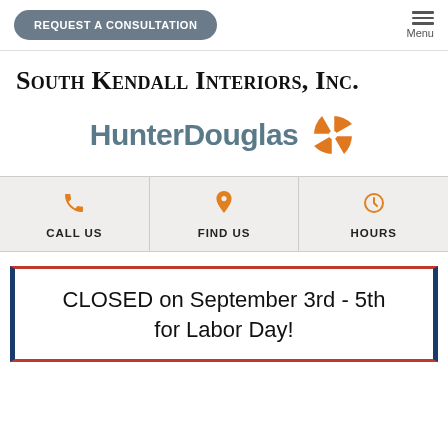REQUEST A CONSULTATION  |  Menu
South Kendall Interiors, Inc.
[Figure (logo): HunterDouglas logo with orange compass/star icon and teal bold text]
CALL US  |  FIND US  |  HOURS
CLOSED on September 3rd - 5th for Labor Day!